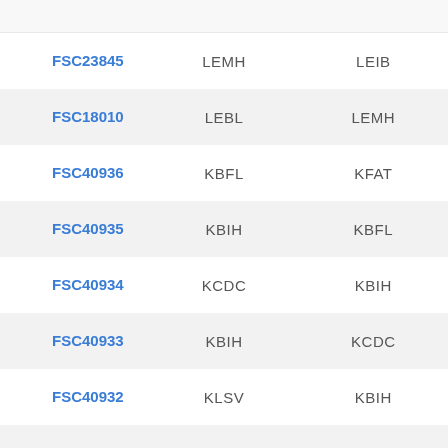| Code | Col2 | Col3 |
| --- | --- | --- |
| FSC23845 | LEMH | LEIB |
| FSC18010 | LEBL | LEMH |
| FSC40936 | KBFL | KFAT |
| FSC40935 | KBIH | KBFL |
| FSC40934 | KCDC | KBIH |
| FSC40933 | KBIH | KCDC |
| FSC40932 | KLSV | KBIH |
| FSC40931 | KCDC | KLSV |
| FSC40930 | KBCE | KCDC |